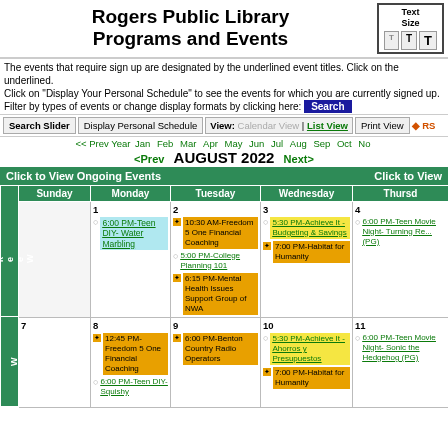Rogers Public Library Programs and Events
The events that require sign up are designated by the underlined event titles. Click on the underlined. Click on "Display Your Personal Schedule" to see the events for which you are currently signed up. Filter by types of events or change display formats by clicking here: Search
|  | Sunday | Monday | Tuesday | Wednesday | Thursday |
| --- | --- | --- | --- | --- | --- |
| Week 32 |  | 1: 6:00 PM-Teen DIY- Water Marbling | 2: 10:30 AM-Freedom 5 One Financial Coaching | 5:00 PM-College Planning 101 | 6:15 PM-Mental Health Issues Support Group of NWA | 3: 5:30 PM-Achieve It - Budgeting & Savings | 7:00 PM-Habitat for Humanity | 4: 6:00 PM-Teen Movie Night- Turning Re... (PG) |
| Week ... | 7 | 8: 12:45 PM-Freedom 5 One Financial Coaching | 6:00 PM-Teen DIY- Squishy | 9: 6:00 PM-Benton Country Radio Operators | 10: 5:30 PM-Achieve It - Ahorros y Presupuestos | 7:00 PM-Habitat for Humanity | 11: 6:00 PM-Teen Movie Night- Sonic the Hedgehog (PG) |